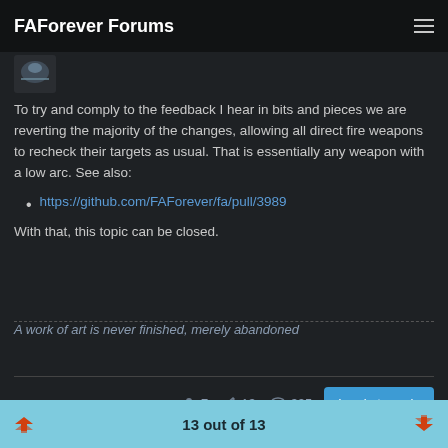FAForever Forums
To try and comply to the feedback I hear in bits and pieces we are reverting the majority of the changes, allowing all direct fire weapons to recheck their targets as usual. That is essentially any weapon with a low arc. See also:
https://github.com/FAForever/fa/pull/3989
With that, this topic can be closed.
A work of art is never finished, merely abandoned
7 users  13 posts  325 views  Log in to reply  13 out of 13